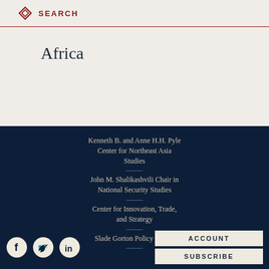SEARCH
Africa
Kenneth B. and Anne H.H. Pyle Center for Northeast Asia Studies
John M. Shalikashvili Chair in National Security Studies
Center for Innovation, Trade, and Strategy
Slade Gorton Policy Center
ACCOUNT SUBSCRIBE